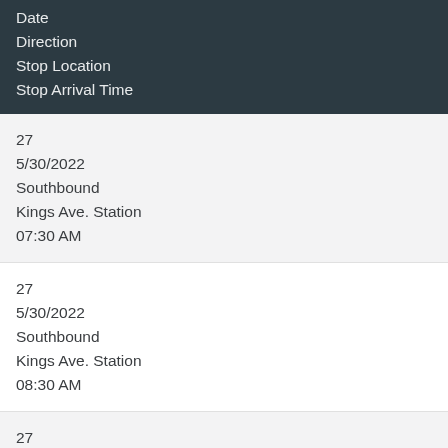| Route | Date | Direction | Stop Location | Stop Arrival Time |
| --- | --- | --- | --- | --- |
| 27 | 5/30/2022 | Southbound | Kings Ave. Station | 07:30 AM |
| 27 | 5/30/2022 | Southbound | Kings Ave. Station | 08:30 AM |
| 27 | 5/30/2022 | Northbound |  |  |